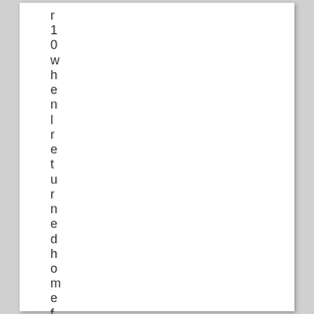r
1
0
w
h
e
n
l
r
e
t
u
r
n
e
d
h
o
m
e
f
r
o
m
m